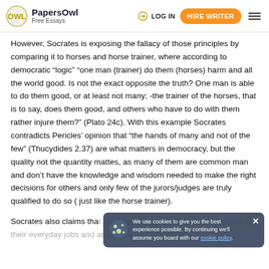PapersOwl Free Essays | LOG IN | HIRE WRITER
However, Socrates is exposing the fallacy of those principles by comparing it to horses and horse trainer, where according to democratic “logic” “one man (trainer) do them (horses) harm and all the world good. Is not the exact opposite the truth? One man is able to do them good, or at least not many; -the trainer of the horses, that is to say, does them good, and others who have to do with them rather injure them?” (Plato 24c). With this example Socrates contradicts Pericles’ opinion that “the hands of many and not of the few” (Thucydides 2.37) are what matters in democracy, but the quality not the quantity mattes, as many of them are common man and don’t have the knowledge and wisdom needed to make the right decisions for others and only few of the jurors/judges are truly qualified to do so ( just like the horse trainer).
Socrates also claims that just because some of them are experts at their everyday jobs and are skilled workmen they